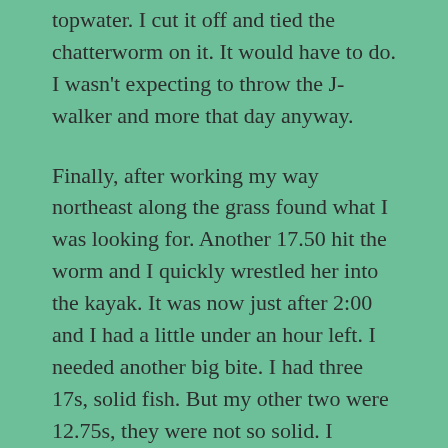topwater. I cut it off and tied the chatterworm on it. It would have to do. I wasn't expecting to throw the J-walker and more that day anyway.
Finally, after working my way northeast along the grass found what I was looking for. Another 17.50 hit the worm and I quickly wrestled her into the kayak. It was now just after 2:00 and I had a little under an hour left. I needed another big bite. I had three 17s, solid fish. But my other two were 12.75s, they were not so solid. I decided to just keep working the grass as I worked my way back toward the ramp but it didn't pan out.
My final  score was 77.75 inches. It was good enough for 26th out of 145 in the Saturday Kissimmee Trail and had me sitting 23rd of 87 in the TENvitational. Not